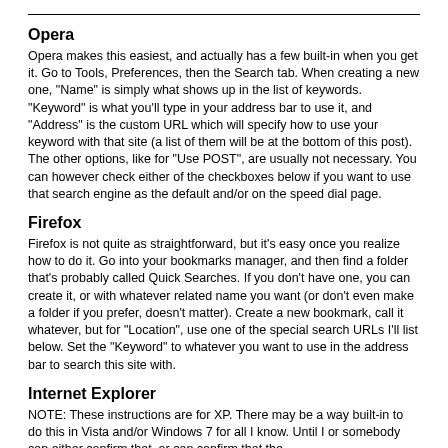Opera
Opera makes this easiest, and actually has a few built-in when you get it.  Go to Tools, Preferences, then the Search tab.  When creating a new one, "Name" is simply what shows up in the list of keywords.  "Keyword" is what you'll type in your address bar to use it, and "Address" is the custom URL which will specify how to use your keyword with that site (a list of them will be at the bottom of this post).  The other options, like for "Use POST", are usually not necessary.  You can however check either of the checkboxes below if you want to use that search engine as the default and/or on the speed dial page.
Firefox
Firefox is not quite as straightforward, but it's easy once you realize how to do it.  Go into your bookmarks manager, and then find a folder that's probably called Quick Searches.  If you don't have one, you can create it, or with whatever related name you want (or don't even make a folder if you prefer, doesn't matter).  Create a new bookmark, call it whatever, but for "Location", use one of the special search URLs I'll list below.  Set the "Keyword" to whatever you want to use in the address bar to search this site with.
Internet Explorer
NOTE:  These instructions are for XP.  There may be a way built-in to do this in Vista and/or Windows 7 for all I know.  Until I or somebody can either confirm that, or can confirm that the